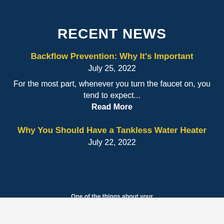RECENT NEWS
Backflow Prevention: Why It's Important
July 25, 2022
For the most part, whenever you turn the faucet on, you tend to expect... Read More
Why You Should Have a Tankless Water Heater
July 22, 2022
One of the things about your
Accept and Close ×
Your browser settings do not allow cross-site tracking for advertising. Click on this page to allow AdRoll to use cross-site tracking to tailor ads to you. Learn more or opt out of this AdRoll tracking by clicking here. This message only appears once.